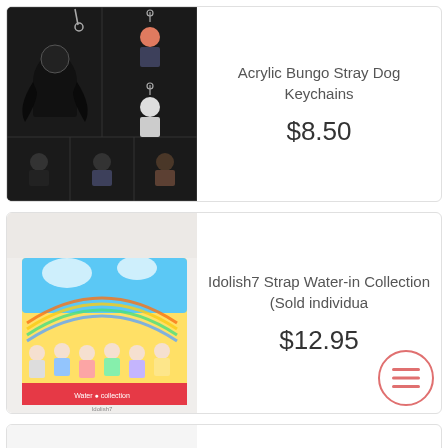[Figure (photo): Acrylic chibi keychains of Bungo Stray Dogs characters arranged in a grid collage on dark background]
Acrylic Bungo Stray Dog Keychains
$8.50
[Figure (photo): Idolish7 Strap Water-in Collection box with colorful beach/summer themed chibi characters]
Idolish7 Strap Water-in Collection (Sold individua
$12.95